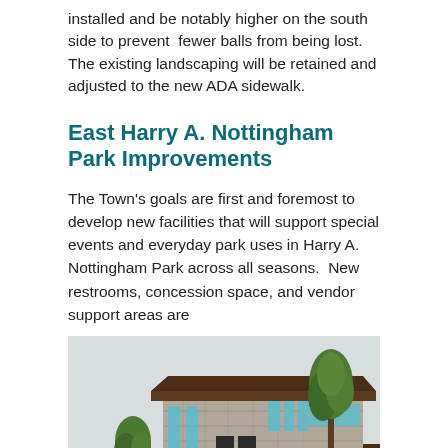installed and be notably higher on the south side to prevent fewer balls from being lost. The existing landscaping will be retained and adjusted to the new ADA sidewalk.
East Harry A. Nottingham Park Improvements
The Town's goals are first and foremost to develop new facilities that will support special events and everyday park uses in Harry A. Nottingham Park across all seasons. New restrooms, concession space, and vendor support areas are
[Figure (illustration): Architectural rendering of a modern stone building with a flat overhanging roof, blue windows, and two trees, with a person walking nearby on a paved area.]
planned around a single structure on the site. New path